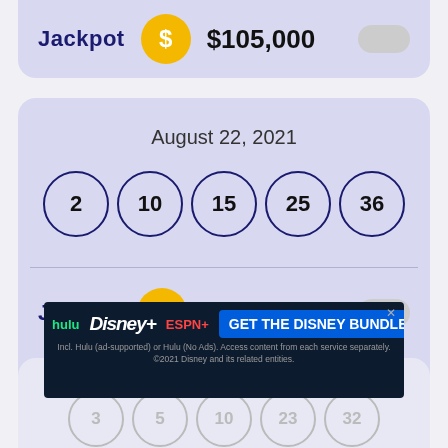Jackpot  $105,000
August 22, 2021
2  10  15  25  36
Jackpot  $100,000
[Figure (screenshot): Disney Bundle advertisement banner showing Hulu, Disney+, ESPN+ logos and GET THE DISNEY BUNDLE CTA]
August 21, 2021
3  5  10  23  32